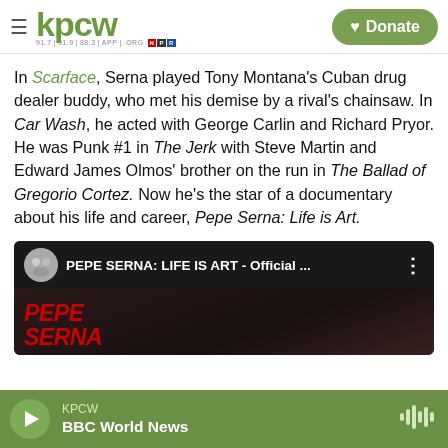KPCW — kpcw logo with hamburger menu and Donate button
In Scarface, Serna played Tony Montana's Cuban drug dealer buddy, who met his demise by a rival's chainsaw. In Car Wash, he acted with George Carlin and Richard Pryor. He was Punk #1 in The Jerk with Steve Martin and Edward James Olmos' brother on the run in The Ballad of Gregorio Cortez. Now he's the star of a documentary about his life and career, Pepe Serna: Life is Art.
[Figure (screenshot): YouTube video thumbnail for 'PEPE SERNA: LIFE IS ART - Official ...' showing a dark video still with red text overlay reading 'PEPE SERNA']
KPCW — BBC World News (audio player bar)